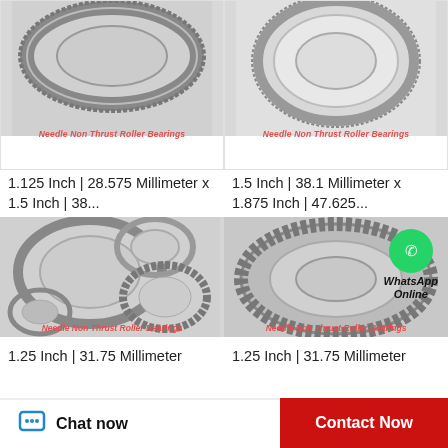[Figure (photo): Needle Non Thrust Roller Bearing product photo - top view of bearing ring]
Needle Non Thrust Roller Bearings
1.125 Inch | 28.575 Millimeter x 1.5 Inch | 38...
[Figure (photo): Needle Non Thrust Roller Bearing product photo - ring bearing]
Needle Non Thrust Roller Bearings
1.5 Inch | 38.1 Millimeter x 1.875 Inch | 47.625...
[Figure (photo): Needle Non Thrust Roller Bearings - multiple bearing rings and washers displayed]
Needle Non Thrust Roller Bearings
1.25 Inch | 31.75 Millimeter
[Figure (photo): Needle Non Thrust Roller Bearing - large flat ring thrust bearing with WhatsApp Online overlay]
Needle Non Thrust Roller Bearings
1.25 Inch | 31.75 Millimeter
Chat now   Contact Now